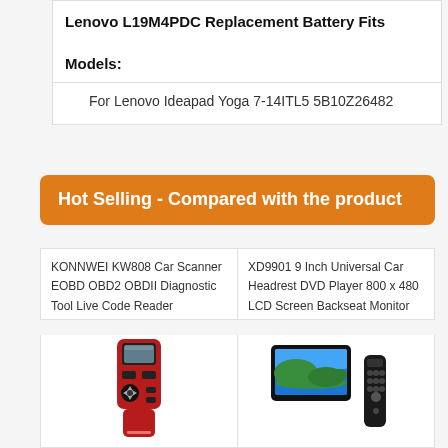Lenovo L19M4PDC Replacement Battery Fits Models:
For Lenovo Ideapad Yoga 7-14ITL5 5B10Z26482
Hot Selling - Compared with the product
KONNWEI KW808 Car Scanner EOBD OBD2 OBDII Diagnostic Tool Live Code Reader
[Figure (photo): Red and black KONNWEI KW808 car scanner OBD2 diagnostic tool device]
XD9901 9 Inch Universal Car Headrest DVD Player 800 x 480 LCD Screen Backseat Monitor
[Figure (photo): Black car headrest DVD player with LCD screen showing landscape image, with remote control]